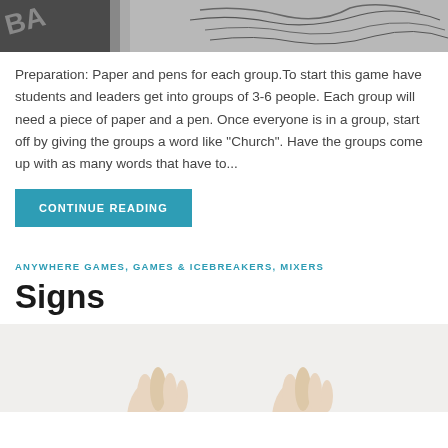[Figure (photo): Partial image of paper and pen or game activity materials, black and white, cropped at top]
Preparation: Paper and pens for each group.To start this game have students and leaders get into groups of 3-6 people. Each group will need a piece of paper and a pen. Once everyone is in a group, start off by giving the groups a word like "Church". Have the groups come up with as many words that have to...
CONTINUE READING
ANYWHERE GAMES, GAMES & ICEBREAKERS, MIXERS
Signs
[Figure (photo): Partial image of hands making finger heart or sign gestures, bottom of page]